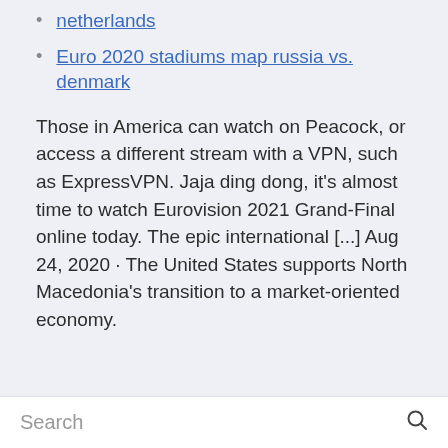netherlands
Euro 2020 stadiums map russia vs. denmark
Those in America can watch on Peacock, or access a different stream with a VPN, such as ExpressVPN. Jaja ding dong, it's almost time to watch Eurovision 2021 Grand-Final online today. The epic international [...] Aug 24, 2020 · The United States supports North Macedonia's transition to a market-oriented economy.
Search